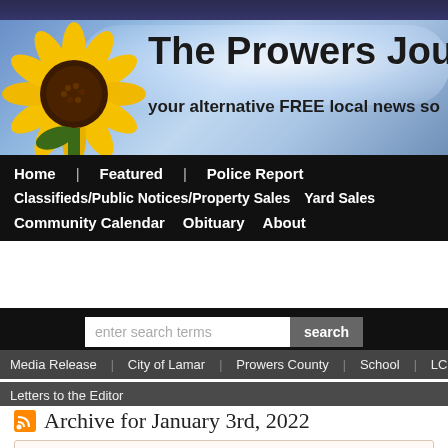[Figure (illustration): The Prowers Journal website banner with sunflower on left, blue sky background, bold title text 'The Prowers Journal' and subtitle 'your alternative FREE local news so']
Home  Featured  Police Report
Classifieds/Public Notices/Property Sales  Yard Sales
Community Calendar  Obituary  About
enter search terms  search
Media Release  City of Lamar  Prowers County  School  LCC
Letters to the Editor
Archive for January 3rd, 2022
Charles “Buck” E. Harris – July 17, 1959 – December 27, 2021